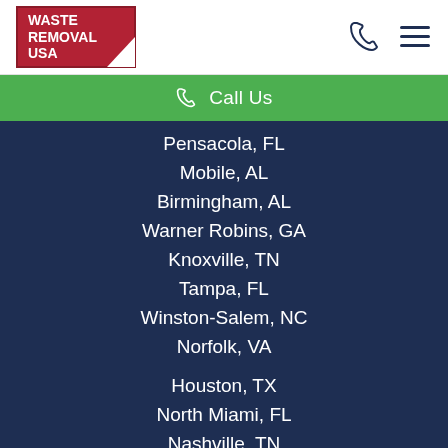[Figure (logo): Waste Removal USA logo — red box with white text and white triangle cutout in bottom-right corner]
Call Us
Pensacola, FL
Mobile, AL
Birmingham, AL
Warner Robins, GA
Knoxville, TN
Tampa, FL
Winston-Salem, NC
Norfolk, VA
Houston, TX
North Miami, FL
Nashville, TN
Columbus, GA
Greensboro, NC